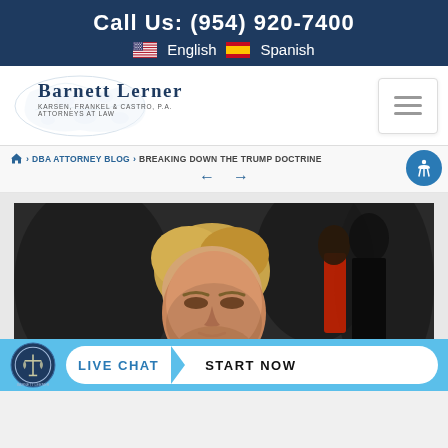Call Us: (954) 920-7400
English  Spanish
[Figure (logo): Barnett Lerner Karsen, Frankel & Castro, P.A. Attorneys at Law logo with world map background]
Home > DBA ATTORNEY BLOG > BREAKING DOWN THE TRUMP DOCTRINE
[Figure (photo): Photo of Donald Trump at a public event, looking to his right, with blurred crowd in background]
LIVE CHAT  START NOW